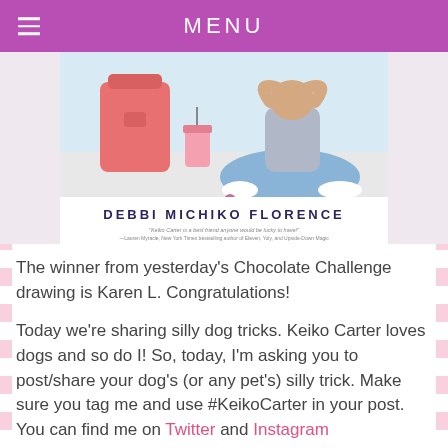MENU
[Figure (photo): Book cover for a novel by Debbi Michiko Florence showing a girl sitting cross-legged on the floor with a pink backpack and a drink. Text reads 'DEBBI MICHIKO FLORENCE' and a pull quote: 'Keiko Carter is a best friend anyone would be lucky to have! —Lauren Myracle, New York Times bestselling author of Eleven, Yoly, and Upside-Down Magic']
The winner from yesterday's Chocolate Challenge drawing is Karen L. Congratulations!
Today we're sharing silly dog tricks. Keiko Carter loves dogs and so do I! So, today, I'm asking you to post/share your dog's (or any pet's) silly trick. Make sure you tag me and use #KeikoCarter in your post. You can find me on Twitter and Instagram